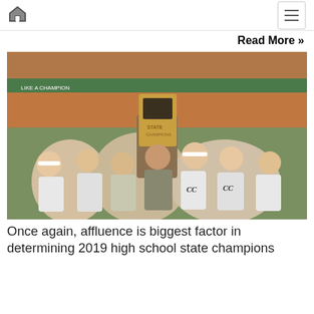Home | Menu
Read More »
[Figure (photo): A team of female high school soccer players celebrating and holding up a state championship trophy plaque at a stadium. Players are wearing white team jerseys, one player in gray, all smiling and cheering.]
Once again, affluence is biggest factor in determining 2019 high school state champions